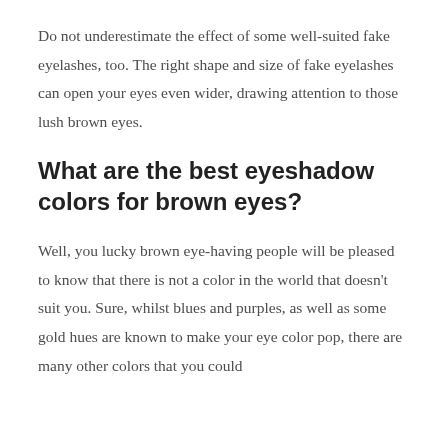Do not underestimate the effect of some well-suited fake eyelashes, too. The right shape and size of fake eyelashes can open your eyes even wider, drawing attention to those lush brown eyes.
What are the best eyeshadow colors for brown eyes?
Well, you lucky brown eye-having people will be pleased to know that there is not a color in the world that doesn't suit you. Sure, whilst blues and purples, as well as some gold hues are known to make your eye color pop, there are many other colors that you could